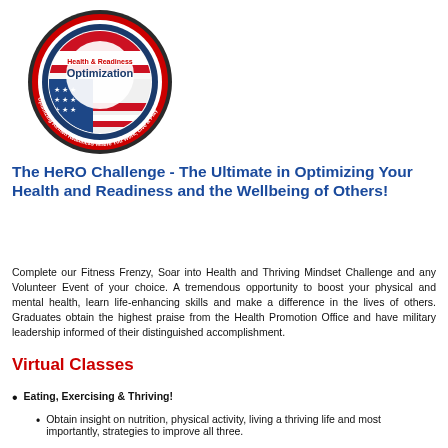[Figure (logo): Health & Readiness Optimization circular seal/badge logo with red, white, and blue flag design. Text reads 'Health & Readiness Optimization' in center and 'Optimizing Airmen Readiness Where You Work, Live & Play' around the border.]
The HeRO Challenge - The Ultimate in Optimizing Your Health and Readiness and the Wellbeing of Others!
Complete our Fitness Frenzy, Soar into Health and Thriving Mindset Challenge and any Volunteer Event of your choice. A tremendous opportunity to boost your physical and mental health, learn life-enhancing skills and make a difference in the lives of others. Graduates obtain the highest praise from the Health Promotion Office and have military leadership informed of their distinguished accomplishment.
Virtual Classes
Eating, Exercising & Thriving!
Obtain insight on nutrition, physical activity, living a thriving life and most importantly, strategies to improve all three.